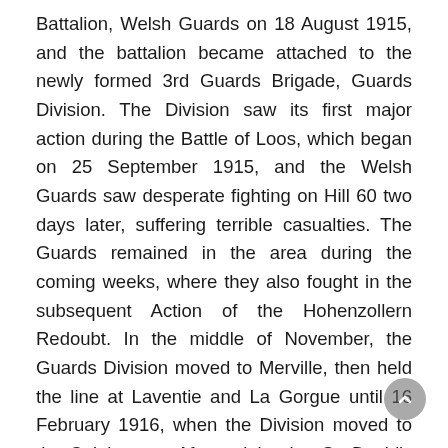Battalion, Welsh Guards on 18 August 1915, and the battalion became attached to the newly formed 3rd Guards Brigade, Guards Division. The Division saw its first major action during the Battle of Loos, which began on 25 September 1915, and the Welsh Guards saw desperate fighting on Hill 60 two days later, suffering terrible casualties. The Guards remained in the area during the coming weeks, where they also fought in the subsequent Action of the Hohenzollern Redoubt. In the middle of November, the Guards Division moved to Merville, then held the line at Laventie and La Gorgue until 16 February 1916, when the Division moved to the Calais area. After celebrating St. David's Day at Wormhoudt, the Guards moved into the Ypres Salient, and took over positions at Potijze. On 3 May 1916 the Welsh Guards were